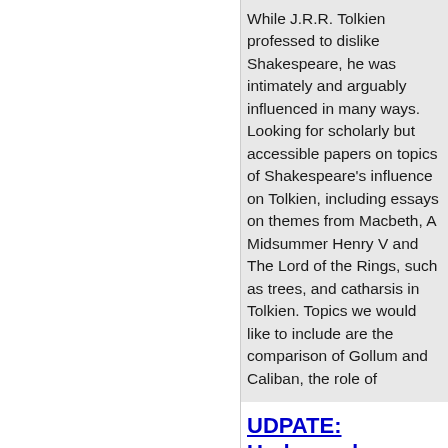While J.R.R. Tolkien professed to dislike Shakespeare, he was intimately and arguably influenced in many ways. Looking for scholarly but accessible papers on topics of Shakespeare's influence on Tolkien, including essays on themes from Macbeth, A Midsummer Henry V and The Lord of the Rings, such as trees, and catharsis in Tolkien. Topics we would like to include are the comparison of Gollum and Caliban, the role of
UDPATE: Undergraduate journal)
updated: Monday, December
Lydia Kualapai
NEW DEADLINE FOR SUBMISS